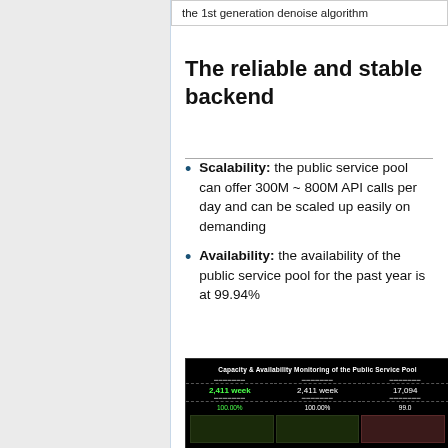the 1st generation denoise algorithm
The reliable and stable backend
Scalability: the public service pool can offer 300M ~ 800M API calls per day and can be scaled up easily on demanding
Availability: the availability of the public service pool for the past year is at 99.94%
[Figure (screenshot): Capacity & Availability Monitoring of the Public Service Pool dashboard showing metrics: 2,411 week (green), 100.00% (green), 2,411 week (white), 100.00% (white), 17,094 and 99.0 partially visible, with graph areas below showing time-series monitoring charts.]